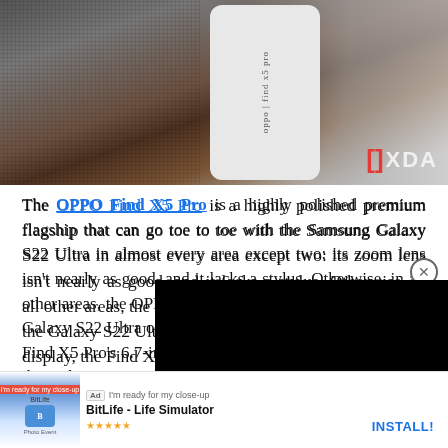[Figure (photo): Photo of OPPO Find X5 Pro smartphone standing upright on a wooden surface next to a speaker, with XDA logo in bottom right corner]
The OPPO Find X5 Pro is a highly polished premium flagship that can go toe to toe with the Samsung Galaxy S22 Ultra in almost every area except two: its zoom lens isn't nearly as good, and it lacks a stylus. Otherwise, in all other areas, the OPPO Find X5 Pro either matches the Galaxy S22 Ultra or beats it. In terms of display, the Find X5 Pro's 6.7-in AMOLED display is every bit as good as the Galaxy S22 Ultra's: it uses the same LTPO 2.0 technology, it is just as bright to the human eye, and comes processed by Snapdragon 8 Gen 1...